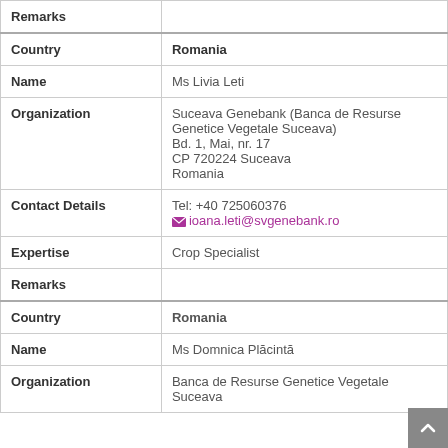| Field | Value |
| --- | --- |
| Remarks |  |
| Country | Romania |
| Name | Ms Livia Leti |
| Organization | Suceava Genebank (Banca de Resurse Genetice Vegetale Suceava)
Bd. 1, Mai, nr. 17
CP 720224 Suceava
Romania |
| Contact Details | Tel: +40 725060376
ioana.leti@svgenebank.ro |
| Expertise | Crop Specialist |
| Remarks |  |
| Country | Romania |
| Name | Ms Domnica Plăcintă |
| Organization | Banca de Resurse Genetice Vegetale Suceava |